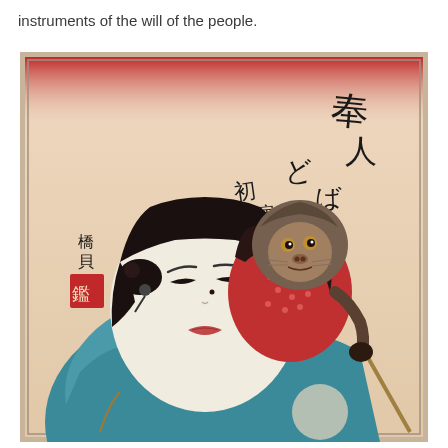instruments of the will of the people.
[Figure (illustration): Japanese woodblock print (ukiyo-e) depicting a kabuki actor with pale face, dark elaborate hair, wearing a teal/blue garment, with a monkey wearing a red dotted garment perched on the actor's shoulders. Black calligraphic text and a red artist seal appear on the left and upper right of the image. The background transitions from deep red at top to pale cream/beige.]